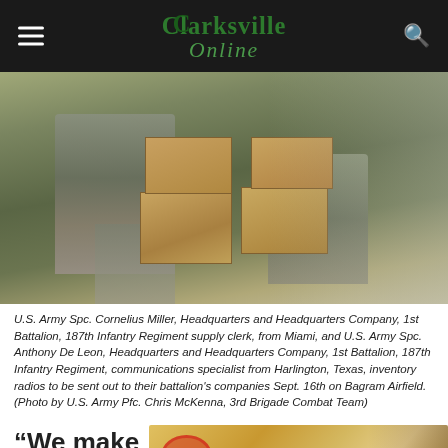Clarksville Online
[Figure (photo): Two U.S. Army soldiers in camouflage uniforms sorting and stacking cardboard boxes in a warehouse or storage container on Bagram Airfield.]
U.S. Army Spc. Cornelius Miller, Headquarters and Headquarters Company, 1st Battalion, 187th Infantry Regiment supply clerk, from Miami, and U.S. Army Spc. Anthony De Leon, Headquarters and Headquarters Company, 1st Battalion, 187th Infantry Regiment, communications specialist from Harlington, Texas, inventory radios to be sent out to their battalion's companies Sept. 16th on Bagram Airfield. (Photo by U.S. Army Pfc. Chris McKenna, 3rd Brigade Combat Team)
“We make
[Figure (photo): Partial image of food on a plate, appears to be a meal with circular food item and sides.]